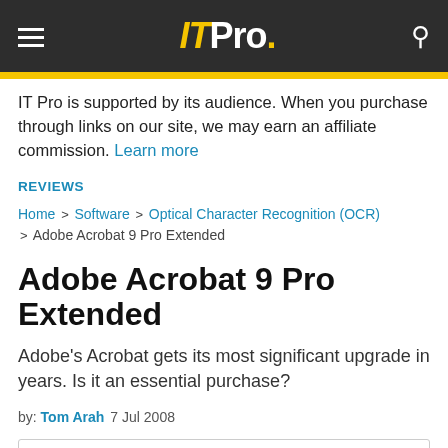IT Pro.
IT Pro is supported by its audience. When you purchase through links on our site, we may earn an affiliate commission. Learn more
REVIEWS
Home > Software > Optical Character Recognition (OCR) > Adobe Acrobat 9 Pro Extended
Adobe Acrobat 9 Pro Extended
Adobe's Acrobat gets its most significant upgrade in years. Is it an essential purchase?
by: Tom Arah  7 Jul 2008
3. Adobe Acrobat 9 Pro Extended